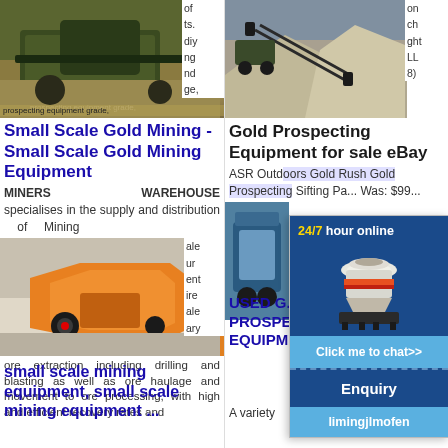[Figure (photo): Mining equipment/crusher machine at a mining site, outdoor setting with machinery]
of ts. diy ng nd ge, prospecting equipment grade,
Small Scale Gold Mining - Small Scale Gold Mining Equipment
MINERS WAREHOUSE specialises in the supply and distribution of Mining
[Figure (photo): Orange crusher/impact crusher machine in industrial warehouse setting]
ale ur ent ire ale ary ore extraction including drilling and blasting as well as ore haulage and movement to ore processing, with high and efficient recovery rates and
small scale mining equipment, small scale mining equipment ...
[Figure (photo): Sand/gravel pile at a mining or quarry site with conveyor belt machinery]
on ch ght LL 8)
Gold Prospecting Equipment for sale eBay
ASR Outdoors Gold Rush Gold Prospecting Sifting Pa... Was: $99...
[Figure (photo): Blue and white used gold prospecting/mining equipment machine]
USED G... PROSPE... EQUIPM...
A variety
[Figure (other): Chat widget overlay: 24/7 hour online with cone crusher image, Click me to chat>> button, Enquiry section, limingjlmofen text]